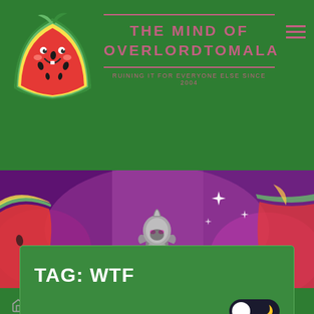[Figure (logo): Kawaii watermelon slice logo with cute face]
THE MIND OF OVERLORDTOMALA
RUINING IT FOR EVERYONE ELSE SINCE 2004
[Figure (photo): Purple-toned banner image showing an armored fantasy character with a horned helmet surrounded by sparkles and watermelon imagery]
Posts tagged "WTF"
TAG: WTF